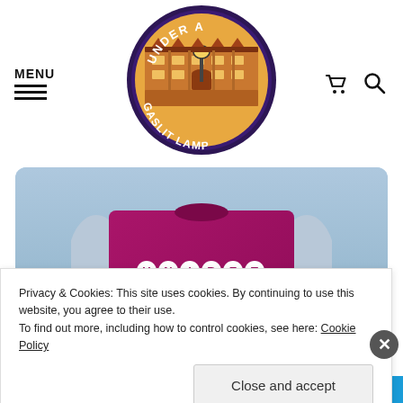[Figure (logo): Circular logo for 'Under A Gaslit Lamp' showing a Victorian building with a gas lamp at center, purple border with text around it]
MENU
[Figure (photo): Cropped photo of a person wearing a claret and blue Aston Villa style football jersey with 'UNIBET' sponsor text, sky background]
Privacy & Cookies: This site uses cookies. By continuing to use this website, you agree to their use.
To find out more, including how to control cookies, see here: Cookie Policy
Close and accept